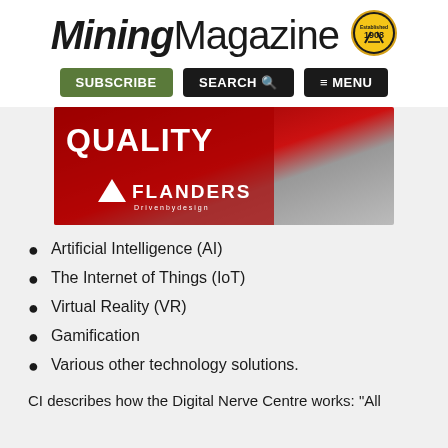Mining Magazine
[Figure (logo): Mining Magazine logo with established 1908 badge]
[Figure (illustration): Flanders advertisement banner showing the word QUALITY over a red and grey rocky background with Flanders logo]
Artificial Intelligence (AI)
The Internet of Things (IoT)
Virtual Reality (VR)
Gamification
Various other technology solutions.
CI describes how the Digital Nerve Centre works: "All